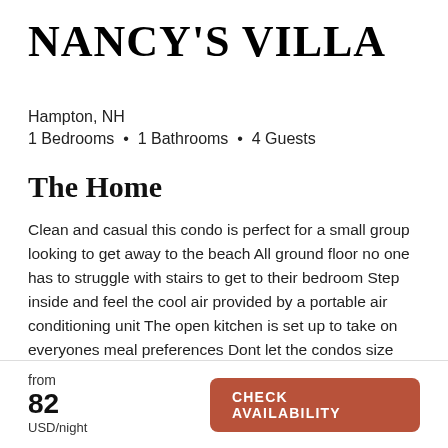NANCY'S VILLA
Hampton, NH
1 Bedrooms  •  1 Bathrooms  •  4 Guests
The Home
Clean and casual this condo is perfect for a small group looking to get away to the beach All ground floor no one has to struggle with stairs to get to their bedroom Step inside and feel the cool air provided by a portable air conditioning unit The open kitchen is set up to take on everyones meal preferences Dont let the condos size fool you …
from
82
USD/night
CHECK AVAILABILITY